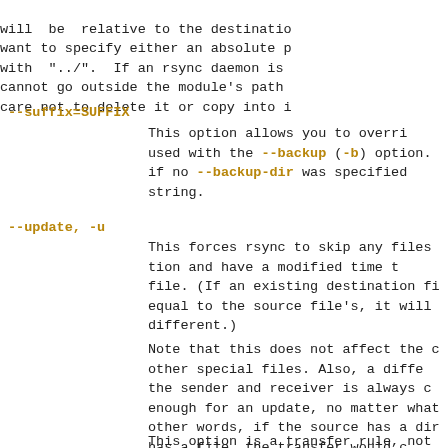will  be  relative to the destination
want to specify either an absolute p
with  "../".  If an rsync daemon is
cannot go outside the module's path
care not to delete it or copy into i
--suffix=SUFFIX
This option allows you to overri
used with the --backup (-b) option.
if no  --backup-dir  was  specified
string.
--update, -u
This forces rsync to skip any files
tion  and  have  a  modified  time t
file. (If an existing destination fi
equal  to the source file's, it will
different.)
Note that this does not affect the c
other  special files.  Also, a diffe
the sender and receiver is always  c
enough for an update, no matter what
other words, if the source has a dir
has  a  file,  the  transfer would c
stamps.
This option is a transfer rule, not
iff...